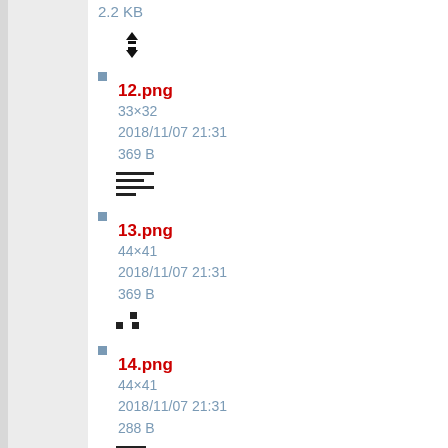2.2 KB
[Figure (other): Network/sort icon - black arrows up and down with horizontal bar]
12.png
33×32
2018/11/07 21:31
369 B
[Figure (other): Lines/list icon - horizontal lines of varying length]
13.png
44×41
2018/11/07 21:31
369 B
[Figure (other): Small dots/squares icon]
14.png
44×41
2018/11/07 21:31
288 B
[Figure (other): Lines icon - horizontal lines of varying length]